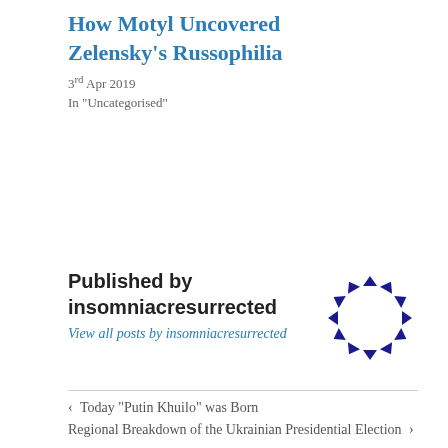How Motyl Uncovered Zelensky's Russophilia
3rd Apr 2019
In "Uncategorised"
Published by insomniacresurrected
View all posts by insomniacresurrected
[Figure (logo): Circular logo made of dark blue arrow/chevron shapes arranged in a ring]
< Today “Putin Khuilo” was Born
Regional Breakdown of the Ukrainian Presidential Election >